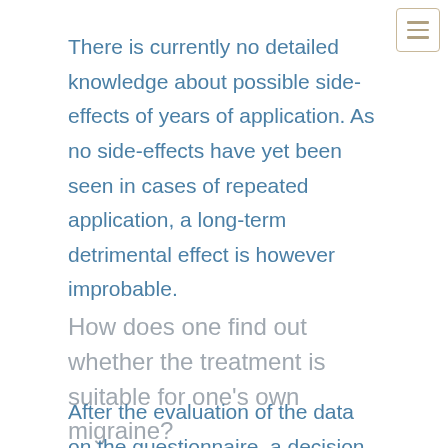There is currently no detailed knowledge about possible side-effects of years of application. As no side-effects have yet been seen in cases of repeated application, a long-term detrimental effect is however improbable.
How does one find out whether the treatment is suitable for one's own migraine?
After the evaluation of the data on the questionnaire, a decision whether a treatment is